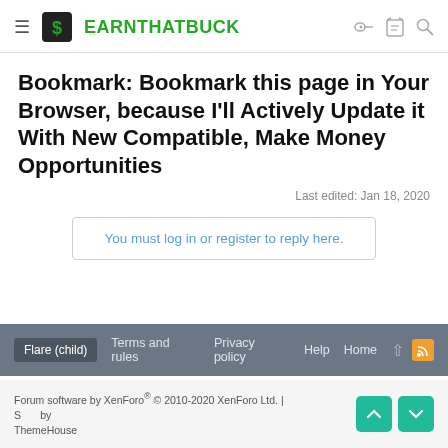EARNTHATBUCK
Bookmark: Bookmark this page in Your Browser, because I'll Actively Update it With New Compatible, Make Money Opportunities
Last edited: Jan 18, 2020
You must log in or register to reply here.
Flare (child)  Terms and rules  Privacy policy  Help  Home
Forum software by XenForo® © 2010-2020 XenForo Ltd. | Style by ThemeHouse